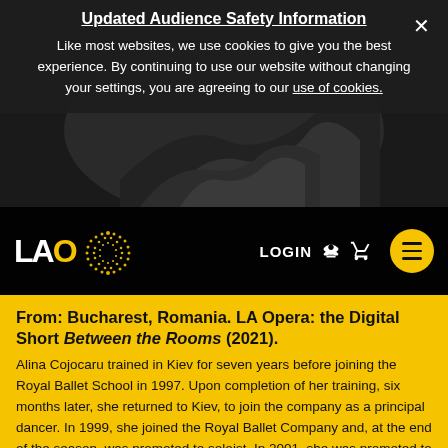Updated Audience Safety Information
Like most websites, we use cookies to give you the best experience. By continuing to use our website without changing your settings, you are agreeing to our use of cookies.
[Figure (screenshot): LA Opera navigation bar with logo (LAO with dot pattern), LOGIN button, shopping cart icon, and yellow circular hamburger menu button. Dark background with blurred hands image in background.]
From: Bucharest, Romania. LA Opera: the Digital Short Between the Rooms (2021).
Alina Cojocaru trained in Kiev for seven years before joining the Royal Ballet School in 1997. Upon completion of her training, six months later, she returned to Kiev, to join the company as a principal dancer. In 1999, she joined the Royal Ballet Company and, at the end of the season, was promoted to soloist. In 2001, she was promoted to the rank of principal